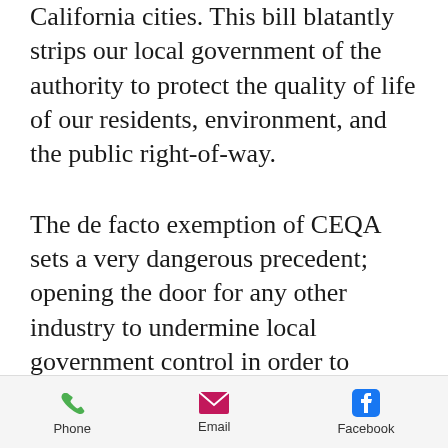California cities. This bill blatantly strips our local government of the authority to protect the quality of life of our residents, environment, and the public right-of-way.
The de facto exemption of CEQA sets a very dangerous precedent; opening the door for any other industry to undermine local government control in order to deploy any kind of corporate undertaking without public or elected officials' consent or lease agreement of publicly owned property.
Phone  Email  Facebook